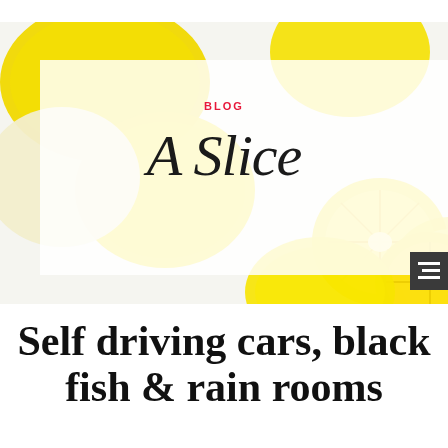[Figure (photo): Hero image of lemons and lemon slices on a white background, with a semi-transparent white overlay box containing a 'BLOG' label in red and a cursive script text 'A Slice']
BLOG
A Slice
Self driving cars, black fish & rain rooms